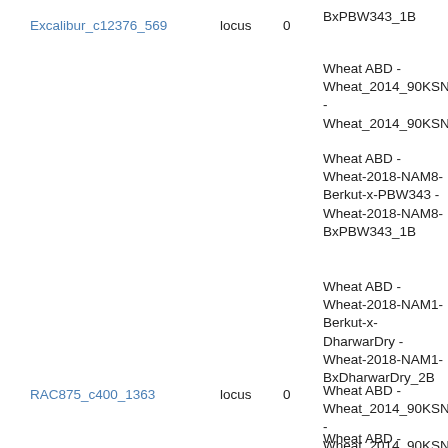Excalibur_c12376_569
locus
0
BxPBW343_1B
Wheat ABD - Wheat_2014_90KSN - Wheat_2014_90KSN
Wheat ABD - Wheat-2018-NAM8-Berkut-x-PBW343 - Wheat-2018-NAM8-BxPBW343_1B
Wheat ABD - Wheat-2018-NAM1-Berkut-x-DharwarDry - Wheat-2018-NAM1-BxDharwarDry_2B
RAC875_c400_1363
locus
0
Wheat ABD - Wheat_2014_90KSN - Wheat_2014_90KSN
Wheat ABD - Wheat-2018-NAM11-Berkut-x-Cltr - Wheat-2018-NAM11-BxCltr4175_1B
Wheat ABD - Wheat-2018-NAM2-Berkut-x-PI572 - Wheat-2018-NAM2-BxPI572692_1D
Wheat ABD - Wheat-